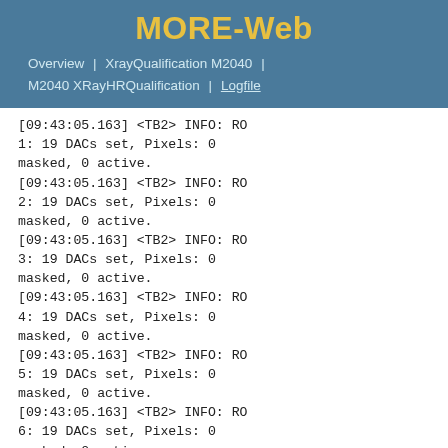MORE-Web
Overview | XrayQualification M2040 | M2040 XRayHRQualification | Logfile
[09:43:05.163] <TB2> INFO: RO 1: 19 DACs set, Pixels: 0 masked, 0 active.
[09:43:05.163] <TB2> INFO: RO 2: 19 DACs set, Pixels: 0 masked, 0 active.
[09:43:05.163] <TB2> INFO: RO 3: 19 DACs set, Pixels: 0 masked, 0 active.
[09:43:05.163] <TB2> INFO: RO 4: 19 DACs set, Pixels: 0 masked, 0 active.
[09:43:05.163] <TB2> INFO: RO 5: 19 DACs set, Pixels: 0 masked, 0 active.
[09:43:05.163] <TB2> INFO: RO 6: 19 DACs set, Pixels: 0 masked, 0 active.
[09:43:05.163] <TB2> INFO: RO 7: 19 DACs set, Pixels: 0 masked, 0 active.
[09:43:05.163] <TB2> INFO: RO 8: 19 DACs set, Pixels: 0 masked, 0 active.
[09:43:05.163] <TB2> INFO: RO